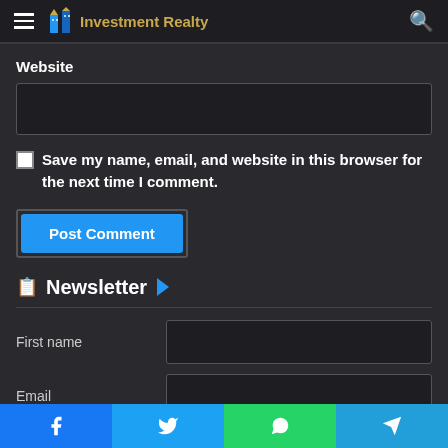Investment Realty
Website
Save my name, email, and website in this browser for the next time I comment.
Post Comment
Newsletter
First name
Email
Facebook Twitter WhatsApp Telegram